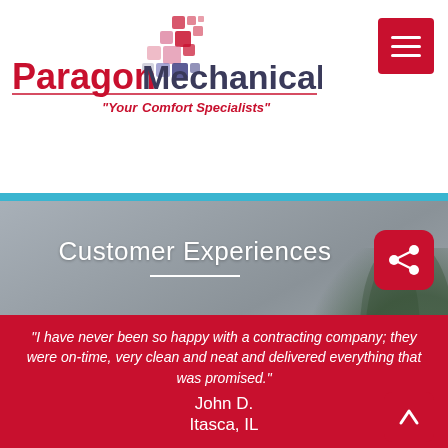[Figure (logo): Paragon Mechanical Inc. logo with colorful square grid icon and tagline 'Your Comfort Specialists']
[Figure (screenshot): Hamburger menu button (red rounded square with three white horizontal lines)]
Customer Experiences
[Figure (photo): Blurred background photo of people on a couch with a plant]
[Figure (other): Red share button icon (rounded square with share/network icon)]
“I have never been so happy with a contracting company; they were on-time, very clean and neat and delivered everything that was promised.”
John D.
Itasca, IL
[Figure (other): Red back-to-top button with upward arrow icon]